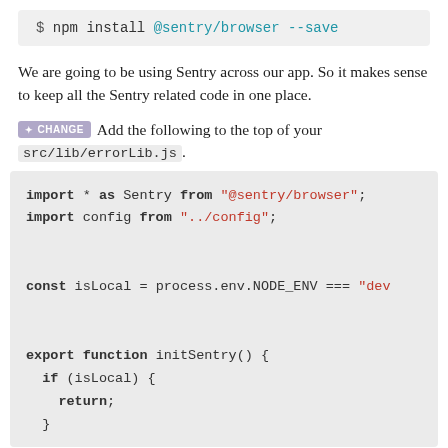$ npm install @sentry/browser --save
We are going to be using Sentry across our app. So it makes sense to keep all the Sentry related code in one place.
✦ CHANGE  Add the following to the top of your src/lib/errorLib.js.
import * as Sentry from "@sentry/browser";
import config from "../config";

const isLocal = process.env.NODE_ENV === "dev

export function initSentry() {
  if (isLocal) {
    return;
  }
}